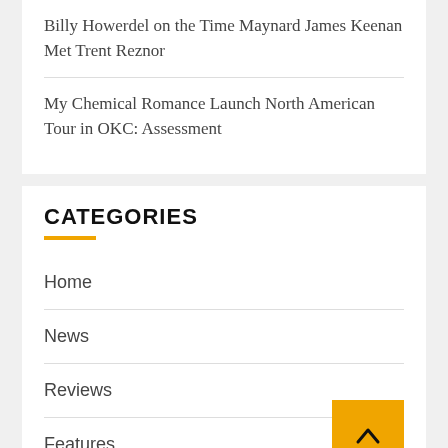Billy Howerdel on the Time Maynard James Keenan Met Trent Reznor
My Chemical Romance Launch North American Tour in OKC: Assessment
CATEGORIES
Home
News
Reviews
Features
Podcast